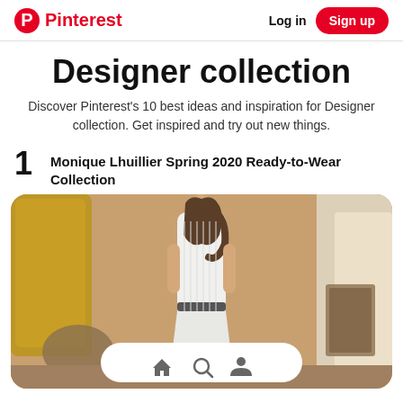Pinterest | Log in | Sign up
Designer collection
Discover Pinterest's 10 best ideas and inspiration for Designer collection. Get inspired and try out new things.
1 Monique Lhuillier Spring 2020 Ready-to-Wear Collection
[Figure (photo): A woman in a white sleeveless dress standing in an ornate interior with gilded mirrors and decorative elements. A bottom navigation bar with home, search, and profile icons overlays the lower portion of the image.]